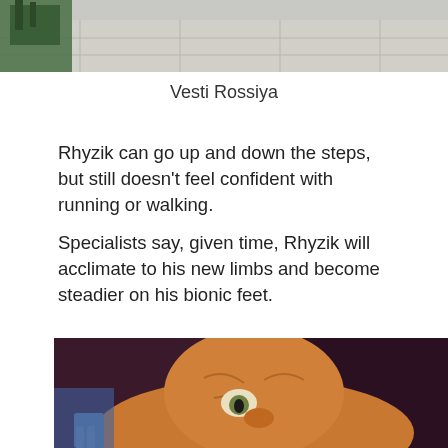[Figure (photo): Top portion of a photo showing outdoor tiles and green plants/chair in background, cropped at top]
Vesti Rossiya
Rhyzik can go up and down the steps, but still doesn't feel confident with running or walking.
Specialists say, given time, Rhyzik will acclimate to his new limbs and become steadier on his bionic feet.
[Figure (photo): Close-up photo of an orange/ginger cat with bionic paws, looking slightly up, dark background]